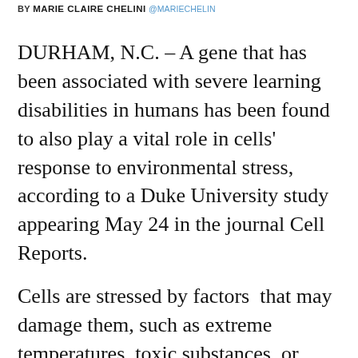BY MARIE CLAIRE CHELINI @MARIECHELIN
DURHAM, N.C. – A gene that has been associated with severe learning disabilities in humans has been found to also play a vital role in cells' response to environmental stress, according to a Duke University study appearing May 24 in the journal Cell Reports.
Cells are stressed by factors  that may damage them, such as extreme temperatures, toxic substances, or mechanical shocks. When this happens, they undergo a range of molecular changes called the cellular stress response.
“Every cell, no matter from which organism, is always exposed to harmful substances in their